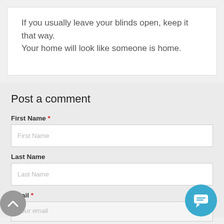If you usually leave your blinds open, keep it that way. Your home will look like someone is home.
Post a comment
First Name *
Last Name
Email *